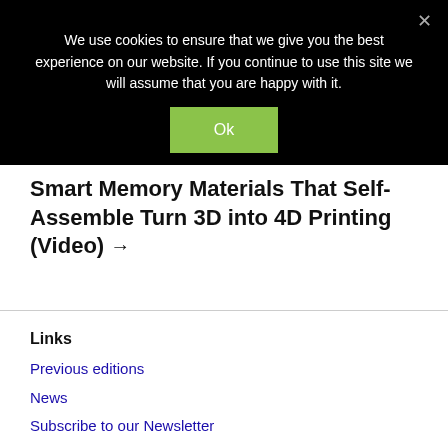We use cookies to ensure that we give you the best experience on our website. If you continue to use this site we will assume that you are happy with it.
Ok
Smart Memory Materials That Self-Assemble Turn 3D into 4D Printing (Video) →
Links
Previous editions
News
Subscribe to our Newsletter
Press